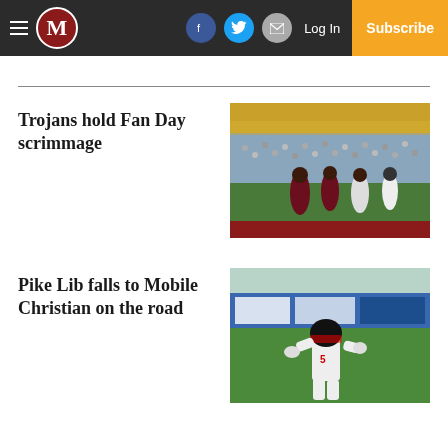M — Subscribe | Log In | Facebook | Twitter | Email
Trojans hold Fan Day scrimmage
[Figure (photo): Football players in maroon and white uniforms running on a field during a scrimmage, with a referee and stadium stands in the background.]
Pike Lib falls to Mobile Christian on the road
[Figure (photo): A football player in white uniform walking or jogging on a green field, with blue advertisement banners in the background.]